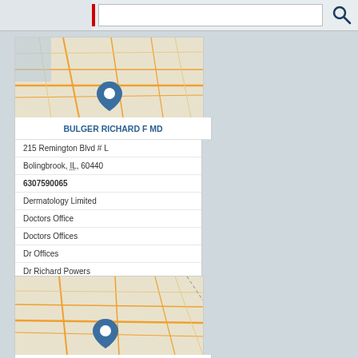[Figure (screenshot): Search bar with red cursor and magnifying glass icon]
[Figure (map): Map showing location pin for Bulger Richard F MD in Bolingbrook IL area]
BULGER RICHARD F MD
215 Remington Blvd # L
Bolingbrook, IL, 60440
6307590065
Dermatology Limited
Doctors Office
Doctors Offices
Dr Offices
Dr Richard Powers
[Figure (map): Map showing location pin for Cabana E C MD in Bolingbrook IL area]
CABANA E C MD
404 W Boughton Rd Ste C
Bolingbrook, IL, 60440